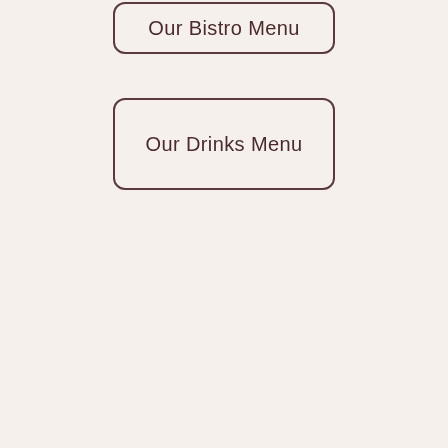Our Bistro Menu
Our Drinks Menu